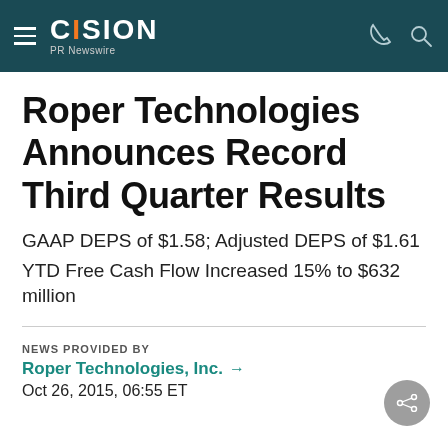CISION PR Newswire
Roper Technologies Announces Record Third Quarter Results
GAAP DEPS of $1.58; Adjusted DEPS of $1.61
YTD Free Cash Flow Increased 15% to $632 million
NEWS PROVIDED BY
Roper Technologies, Inc. →
Oct 26, 2015, 06:55 ET